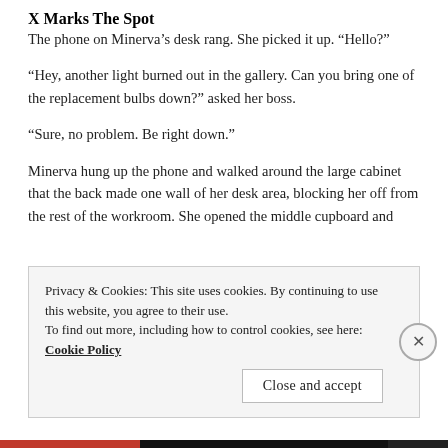Museum Mishap Monday: X Marks The Spot
The phone on Minerva’s desk rang. She picked it up. “Hello?”
“Hey, another light burned out in the gallery. Can you bring one of the replacement bulbs down?” asked her boss.
“Sure, no problem. Be right down.”
Minerva hung up the phone and walked around the large cabinet that the back made one wall of her desk area, blocking her off from the rest of the workroom. She opened the middle cupboard and
Privacy & Cookies: This site uses cookies. By continuing to use this website, you agree to their use.
To find out more, including how to control cookies, see here: Cookie Policy
Close and accept